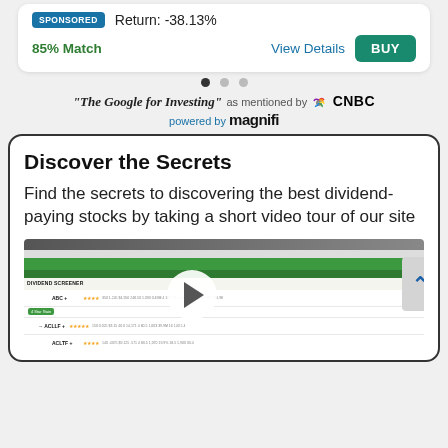SPONSORED  Return: -38.13%
85% Match   View Details   BUY
"The Google for Investing" as mentioned by CNBC  powered by magnifi
Discover the Secrets
Find the secrets to discovering the best dividend-paying stocks by taking a short video tour of our site
[Figure (screenshot): Screenshot of a Dividend Screener web application showing a table with stock tickers ABC, ACLLF, ACLTF, ACN, ADI, ADM and their financial data including ratings and metrics, with a video play button overlay]